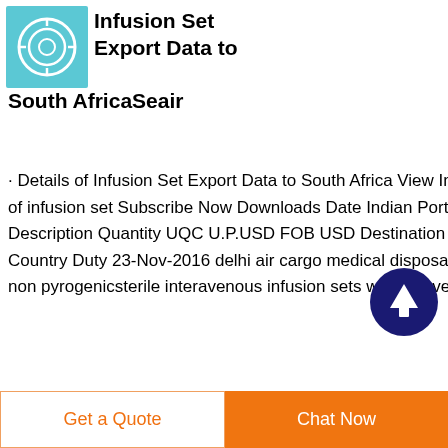Infusion Set Export Data to South AfricaSeair
· Details of Infusion Set Export Data to South Africa View Import data of infusion set Subscribe Now Downloads Date Indian Port CTH Item Description Quantity UQC U.P.USD FOB USD Destination Port Country Duty 23-Nov-2016 delhi air cargo medical disposable sterile non pyrogenicsterile interavenous infusion sets withy-clave and check
[Figure (other): Dark blue circular scroll-to-top button with white upward arrow]
Get a Quote
Chat Now